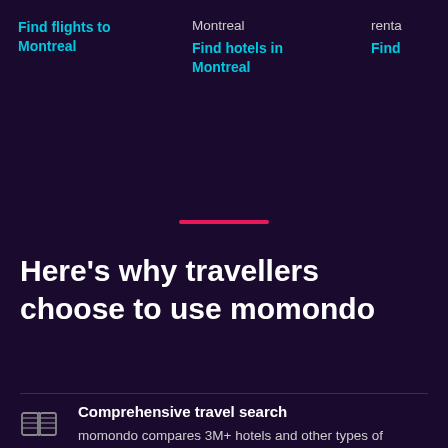Find flights to Montreal
Montreal
Find hotels in Montreal
renta
Find
Here's why travellers choose to use momondo
Comprehensive travel search
momondo compares 3M+ hotels and other types of accommodation to ensure you can find the best place to stay.
Intuitive search filters
Filter by price, amenities, free